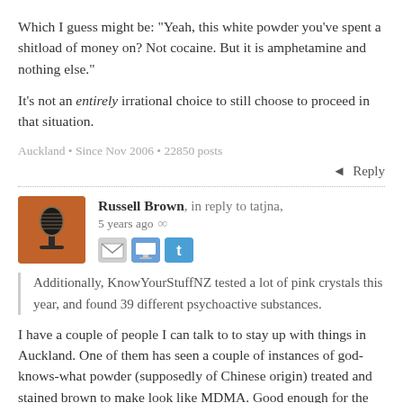Which I guess might be: "Yeah, this white powder you've spent a shitload of money on? Not cocaine. But it is amphetamine and nothing else."
It's not an entirely irrational choice to still choose to proceed in that situation.
Auckland • Since Nov 2006 • 22850 posts
Reply
Russell Brown, in reply to tatjna, 5 years ago
[Figure (illustration): Orange/brown avatar icon showing a vintage microphone silhouette on an orange-brown background]
Additionally, KnowYourStuffNZ tested a lot of pink crystals this year, and found 39 different psychoactive substances.
I have a couple of people I can talk to to stay up with things in Auckland. One of them has seen a couple of instances of god-knows-what powder (supposedly of Chinese origin) treated and stained brown to make look like MDMA. Good enough for the kids, apparently. And South Islanders, who apparently get Auckland's reject recreational